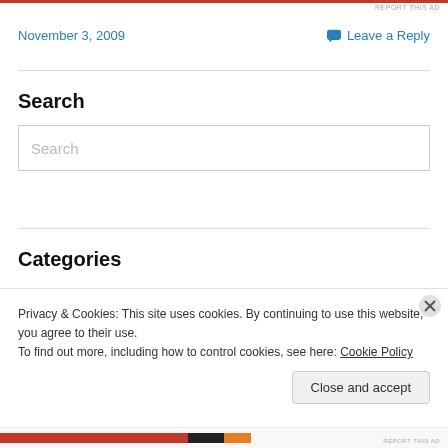REPORT THIS AD
November 3, 2009
Leave a Reply
Search
Search
Categories
Privacy & Cookies: This site uses cookies. By continuing to use this website, you agree to their use.
To find out more, including how to control cookies, see here: Cookie Policy
Close and accept